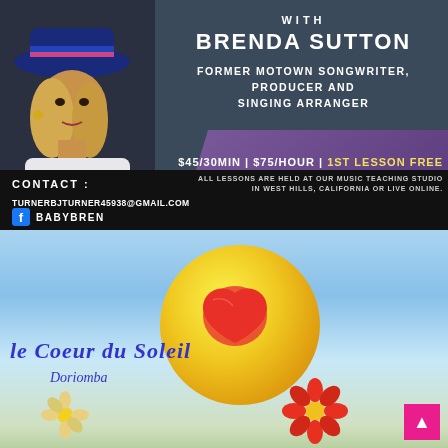WITH
BRENDA SUTTON
FORMER MOTOWN SONGWRITER, PRODUCER AND SINGING ARRANGER
CONTACT :
TURNERBJTURNER45938@GMAIL.COM
BABYBREN
$45/30MIN | $75/HOUR | 1ST LESSON FREE
ALL LESSONS ARE HELD AT OUR MUSIC TEACHING STUDIO IN WEST HILLS, CALIFORNIA OR LIVE ONLINE.
[Figure (illustration): Portrait of Brenda Sutton wearing a blue hat with pink stripe, blonde hair, dark background]
[Figure (illustration): Album artwork for 'le Coeur du Soleil' by Doriomba featuring a sun circle with a red heart on a blue sky background with flowers]